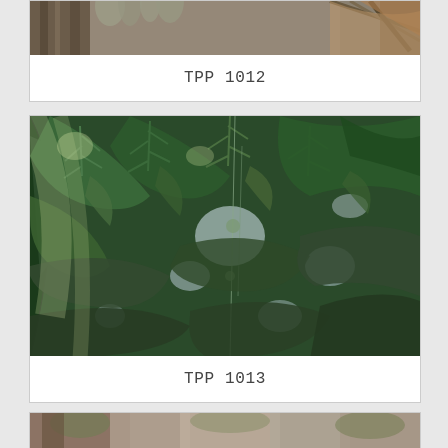[Figure (photo): Partial view of tree bark with hanging moss and palm fronds, top portion visible]
TPP 1012
[Figure (photo): Close-up photograph looking up through dense tropical foliage with green leaves and dappled light]
TPP 1013
[Figure (photo): Partial view of another outdoor nature photo, bottom of page, mostly cut off]